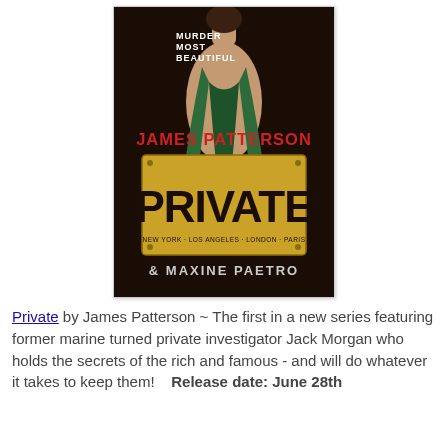[Figure (illustration): Book cover of 'Private' by James Patterson and Maxine Paetro. Shows a woman in a green backless dress from behind, with the text 'MURDER MOST BEAUTIFUL' at top, 'JAMES PATTERSON' in red letters, 'PRIVATE' in large black letters on a gold plaque, 'NEW YORK · LOS ANGELES · LONDON · PARIS' below, and '& MAXINE PAETRO' at the bottom, all on a dark background.]
Private by James Patterson ~ The first in a new series featuring former marine turned private investigator Jack Morgan who holds the secrets of the rich and famous - and will do whatever it takes to keep them!   Release date: June 28th